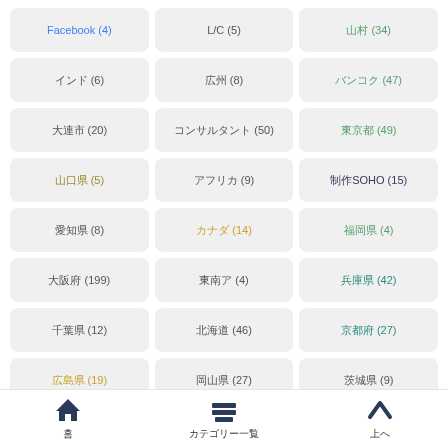Facebook (4)
L/C (5)
□□□ (34)
□□□□ (6)
□□□ (8)
□□□□ (47)
□□□□ (20)
□□□□□□□□ (50)
□□□□ (49)
□□□□ (5)
□□□□□□ (9)
□□SOHO (15)
□□□□ (8)
□□□□□□ (14)
□□□□ (4)
□□□□ (199)
□□□□ (4)
□□□□ (42)
□□□□ (12)
□□□□ (46)
□□□□ (27)
□□□□ (19)
□□□□ (27)
□□□□ (9)
□□□□□□ (49)
□□□ (50)
□□□□ (4)
□□□ (5)
□□□ (8)
□□ (7)
□□ (5)
□□□□ (7)
□□□□ (6)
□□□□ (50)
□□ (6)
□□□□ (4)
홈  □□□□□□□□□□  위